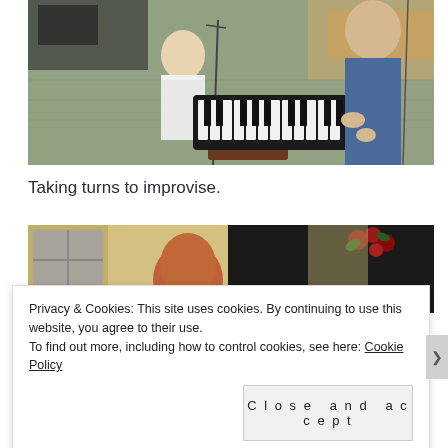[Figure (photo): Two musicians on an outdoor patio — a younger man in white shirt seated at drums/equipment on left, and an older man in blue jacket playing a small keyboard on right. A small keyboard instrument is prominent in the foreground.]
Taking turns to improvise.
[Figure (photo): Partial view of a second photo showing a person with reddish-brown hair from behind, indoors near a window with what appears to be Christmas decorations.]
Privacy & Cookies: This site uses cookies. By continuing to use this website, you agree to their use.
To find out more, including how to control cookies, see here: Cookie Policy
Close and accept